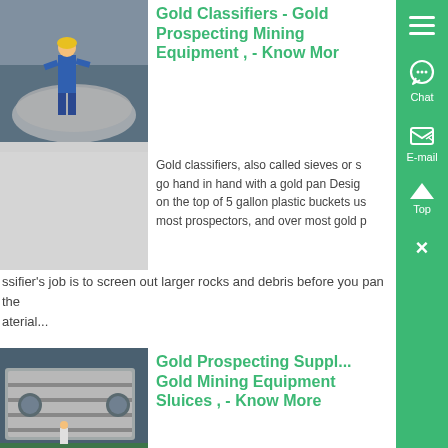[Figure (photo): Worker in blue uniform and yellow hard hat working with large industrial mining equipment bowl]
Gold Classifiers - Gold Prospecting Mining Equipment , - Know More
Gold classifiers, also called sieves or s... go hand in hand with a gold pan Desig... on the top of 5 gallon plastic buckets us... most prospectors, and over most gold p...
ssifier's job is to screen out larger rocks and debris before you pan the material...
[Figure (photo): Large industrial gold mining sluice equipment in a warehouse with a worker standing nearby]
Gold Prospecting Suppl... Gold Mining Equipment Sluices , - Know More
quality name brand gold prospecting su... and equipment From gold snuffer bottle... gold pans, to metal detectors, dredges... and gold trommels, you can find it at th...